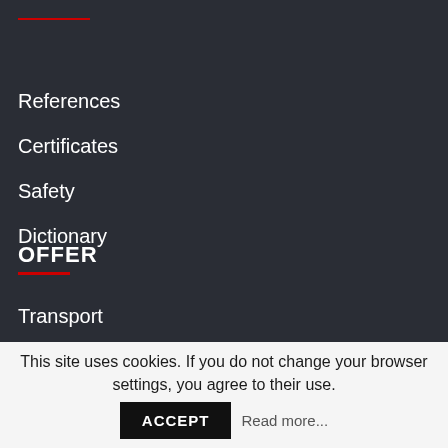References
Certificates
Safety
Dictionary
OFFER
Transport
Project Cargo
Logistic Audit
This site uses cookies. If you do not change your browser settings, you agree to their use. ACCEPT Read more...